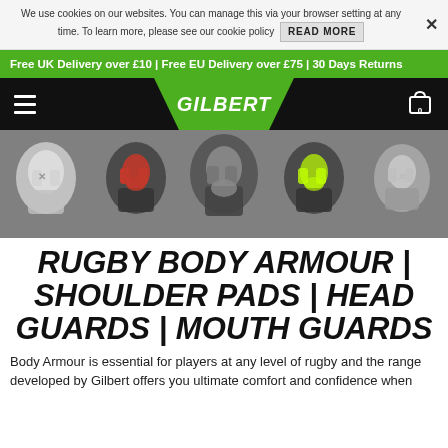We use cookies on our websites. You can manage this via your browser setting at any time. To learn more, please see our cookie policy  READ MORE  ×
Free UK Delivery over £10 | Free EU Delivery over £75 | 30 Days Returns
[Figure (screenshot): Gilbert rugby brand navigation bar with hamburger menu, green Gilbert logo, and shopping cart icon]
[Figure (photo): Five rugby body armour/shoulder pads products displayed on grey background]
RUGBY BODY ARMOUR | SHOULDER PADS | HEAD GUARDS | MOUTH GUARDS
Body Armour is essential for players at any level of rugby and the range developed by Gilbert offers you ultimate comfort and confidence when